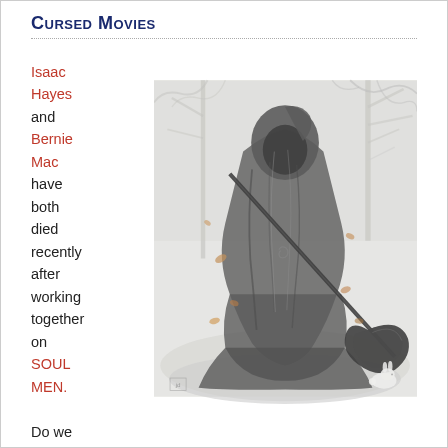Cursed Movies
Isaac Hayes and Bernie Mac have both died recently after working together on SOUL MEN.

Do we have a
[Figure (illustration): Painting of the Grim Reaper — a hooded figure in flowing grey robes holding a large scythe, standing in a misty white forest with bare trees. Fallen autumn leaves float around the figure. A small white rabbit sits in the lower right corner. The overall palette is grey and white with subtle warm tones from the leaves.]